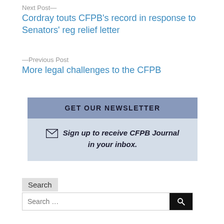Next Post—
Cordray touts CFPB's record in response to Senators' reg relief letter
—Previous Post
More legal challenges to the CFPB
GET OUR NEWSLETTER
Sign up to receive CFPB Journal in your inbox.
Search
Search...